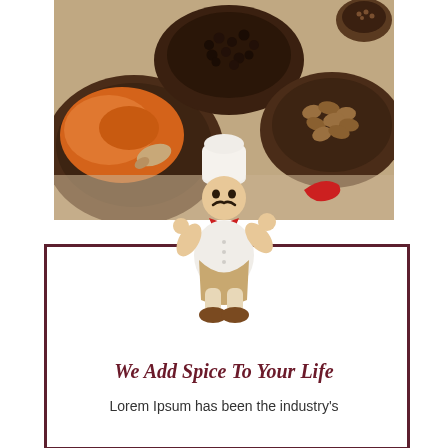[Figure (photo): Photo of wooden bowls with colorful spices including turmeric (orange), peppercorns (black), and nuts/seeds on a rustic background, with a ceramic chef figurine wearing a white hat, white jacket with red neckerchief, and brown apron overlapping the bottom of the photo]
We Add Spice To Your Life
Lorem Ipsum has been the industry's